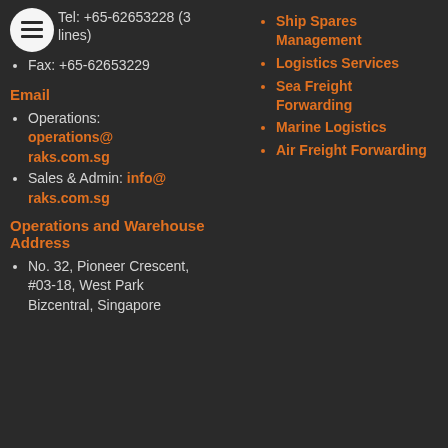Tel: +65-62653228 (3 lines)
Fax: +65-62653229
Ship Spares Management
Logistics Services
Sea Freight Forwarding
Marine Logistics
Air Freight Forwarding
Email
Operations: operations@raks.com.sg
Sales & Admin: info@raks.com.sg
Operations and Warehouse Address
No. 32, Pioneer Crescent, #03-18, West Park Bizcentral, Singapore